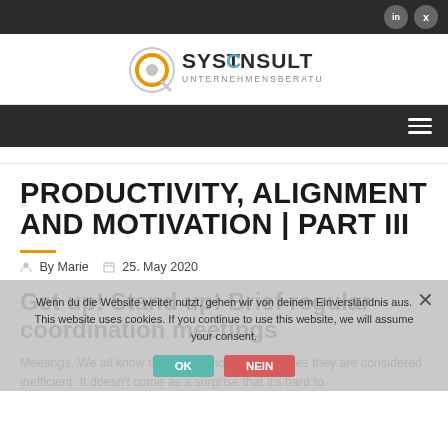SystConsult Unternehmensberatung — social icons: LinkedIn, Xing
[Figure (logo): SystConsult Unternehmensberatung logo — circular orange/grey icon with SYSTCONSULT text and UNTERNEHMENSBERATUNG subtitle]
PRODUCTIVITY, ALIGNMENT AND MOTIVATION | PART III
By Marie   25. May 2020
Get up! Stand up! Brief regular coordination meetings
Meetings. We all know them well and in many cases they are considered inefficient. It doesn't come as a surprise that it's hard to
Cookie notice overlay: Wenn du die Website weiter nutzt, gehen wir von deinem Einverständnis aus. This website uses cookies. If you continue to use this website, we will assume your consent.